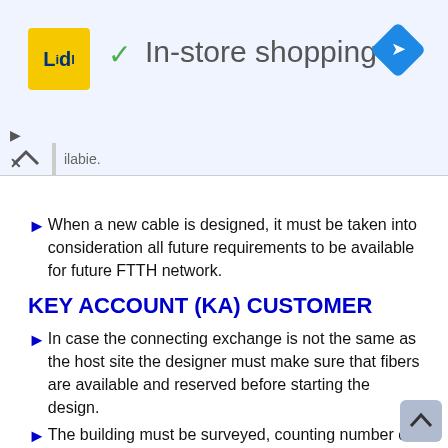[Figure (screenshot): Lidl in-store shopping advertisement banner with logo, checkmark, navigation icon, play and close controls, and collapse arrow]
ilabie.
When a new cable is designed, it must be taken into consideration all future requirements to be available for future FTTH network.
KEY ACCOUNT (KA) CUSTOMER
In case the connecting exchange is not the same as the host site the designer must make sure that fibers are available and reserved before starting the design.
The building must be surveyed, counting number of customers and type of customers (small business, medium business, or enterprise), telecom room location, and entrance to the telecom room.
Drop cable must be dimension so that each customer